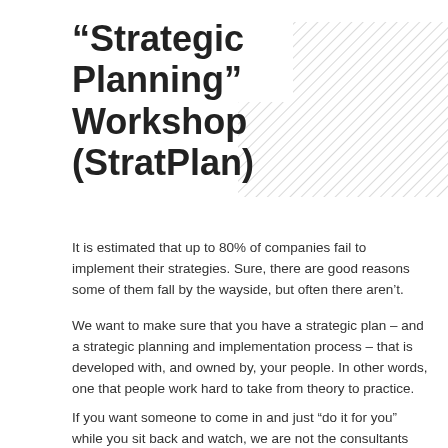“Strategic Planning” Workshop (StratPlan)
[Figure (illustration): Hatched diagonal lines pattern forming a stepped rectangular graphic in the top-right corner of the page.]
It is estimated that up to 80% of companies fail to implement their strategies. Sure, there are good reasons some of them fall by the wayside, but often there aren’t.
We want to make sure that you have a strategic plan – and a strategic planning and implementation process – that is developed with, and owned by, your people. In other words, one that people work hard to take from theory to practice.
If you want someone to come in and just “do it for you” while you sit back and watch, we are not the consultants you want!